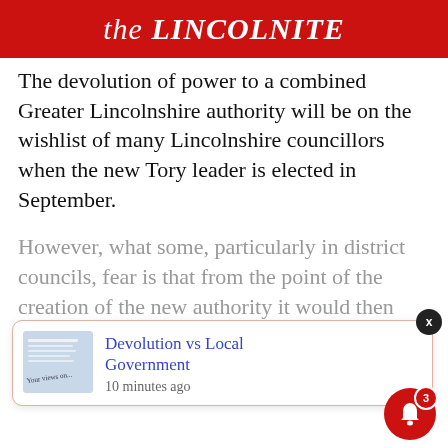the LINCOLNITE
The devolution of power to a combined Greater Lincolnshire authority will be on the wishlist of many Lincolnshire councillors when the new Tory leader is elected in September.
However, what some, particularly in district councils, fear is that from the point of the creation of the new authority it would then begin drawing “up” – taking responsibilities [from local government] [shadow ...]
[Figure (screenshot): Notification popup showing 'Devolution vs Local Government' article link with thumbnail image and '10 minutes ago' timestamp, with an X close button and red bell notification icon with badge showing 3]